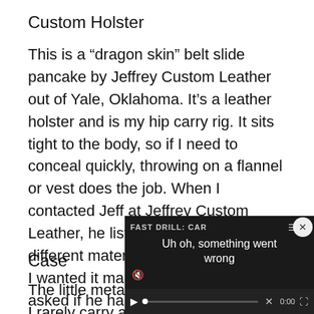Custom Holster
This is a “dragon skin” belt slide pancake by Jeffrey Custom Leather out of Yale, Oklahoma. It’s a leather holster and is my hip carry rig. It sits tight to the body, so if I need to conceal quickly, throwing on a flannel or vest does the job. When I contacted Jeff at Jeffrey Custom Leather, he listed a plethora of different materials and asked me what I wanted it made out of. I jokingly asked if he had dragon skin, and he did not disappoint! Sorry, Daenerys.
[Figure (screenshot): Video player overlay showing error message: 'FAST DRILL: CAR' title with 'Uh oh, something went wrong' error text, play controls, and close button]
Case
The little metal card holde... because I rarely carry a p...